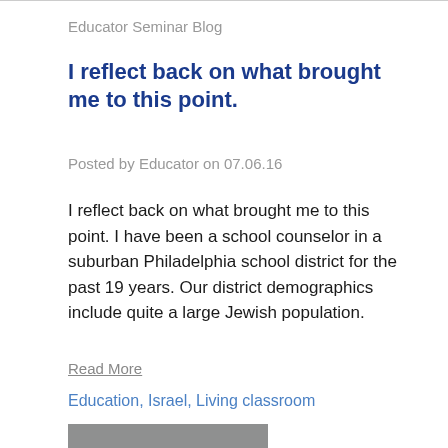Educator Seminar Blog
I reflect back on what brought me to this point.
Posted by Educator on 07.06.16
I reflect back on what brought me to this point. I have been a school counselor in a suburban Philadelphia school district for the past 19 years. Our district demographics include quite a large Jewish population.
Read More
Education, Israel, Living classroom
[Figure (photo): Partially visible grey image at bottom of page]